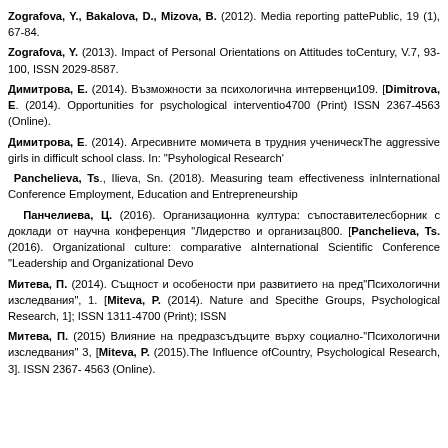Zografova, Y., Bakalova, D., Mizova, B. (2012). Media reporting patte... Public, 19 (1), 67-84.
Zografova, Y. (2013). Impact of Personal Orientations on Attitudes to... Century, V.7, 93-100, ISSN 2029-8587.
Димитрова, E. (2014). Възможности за психологична интервенци... 109. [Dimitrova, E. (2014). Opportunities for psychological interventio... 4700 (Print) ISSN 2367-4563 (Online).
Димитрова, E. (2014). Агресивните момичета в трудния ученическ... The aggressive girls in difficult school class. In: "Psyhological Research"...
Panchelieva, Ts., Ilieva, Sn. (2018). Measuring team effectiveness in... International Conference Employment, Education and Entrepreneurship...
Панчелиева, Ц. (2016). Организационна култура: съпоставителе... сборник с доклади от научна конференция "Лидерство и организац... 800. [Panchelieva, Ts. (2016). Organizational culture: comparative a... International Scientific Conference "Leadership and Organizational Devo...
Митева, П. (2014). Същност и особености при развитието на пред... "Психологични изследвания", 1. [Miteva, P. (2014). Nature and Speci... the Groups, Psychological Research, 1]; ISSN 1311-4700 (Print); ISSN...
Митева, П. (2015) Влияние на предразсъдъците върху социално-... "Психологични изследвания" 3, [Miteva, P. (2015).The Influence of... Country, Psychological Research, 3]. ISSN 2367- 4563 (Online).